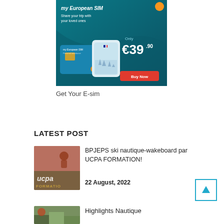[Figure (photo): Advertisement banner for Bouygues 'my European SIM' card, showing teal/dark blue background, SIM card and phone, price €39.90, Buy Now red button]
Get Your E-sim
LATEST POST
[Figure (photo): Thumbnail image showing UCPA FORMATION text on sandy/outdoor background]
BPJEPS ski nautique-wakeboard par UCPA FORMATION!
22 August, 2022
[Figure (photo): Thumbnail image for Highlights Nautique post]